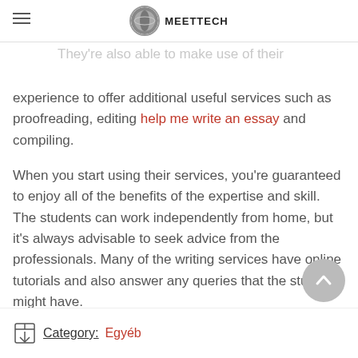MEETTECH
writers readily available at your disposal to provide you to provide outstanding outcome. They're also able to make use of their experience to offer additional useful services such as proofreading, editing help me write an essay and compiling.
When you start using their services, you're guaranteed to enjoy all of the benefits of the expertise and skill. The students can work independently from home, but it's always advisable to seek advice from the professionals. Many of the writing services have online tutorials and also answer any queries that the students might have.
Category: Egyéb